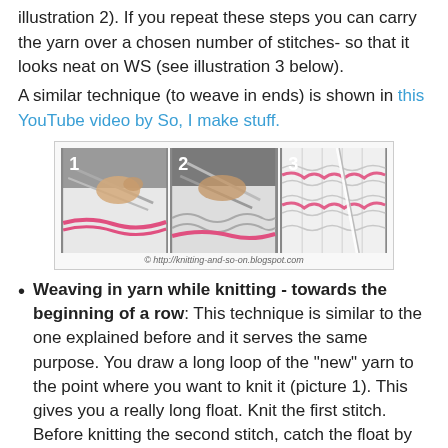illustration 2). If you repeat these steps you can carry the yarn over a chosen number of stitches- so that it looks neat on WS (see illustration 3 below).
A similar technique (to weave in ends) is shown in this YouTube video by So, I make stuff.
[Figure (photo): Three side-by-side photos numbered 1, 2, 3 showing knitting techniques: weaving in yarn while knitting. Photo 1 shows needles entering stitches with pink yarn. Photo 2 shows the needle working through stitches. Photo 3 shows the completed woven yarn on the wrong side of knitting. Caption: http://knitting-and-so-on.blogspot.com]
Weaving in yarn while knitting - towards the beginning of a row: This technique is similar to the one explained before and it serves the same purpose. You draw a long loop of the "new" yarn to the point where you want to knit it (picture 1). This gives you a really long float. Knit the first stitch. Before knitting the second stitch, catch the float by put the left hand needle under the float (picture 2) and then knit the stitch with your